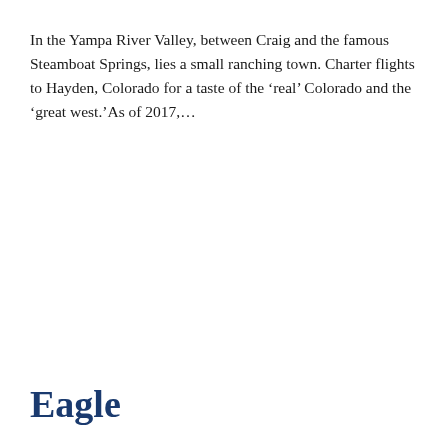In the Yampa River Valley, between Craig and the famous Steamboat Springs, lies a small ranching town. Charter flights to Hayden, Colorado for a taste of the ‘real’ Colorado and the ‘great west.’As of 2017,…
Eagle